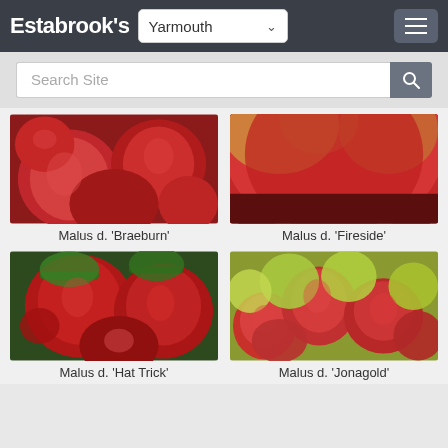Estabrook's — Yarmouth (navigation header with location selector and hamburger menu)
Search Site
[Figure (photo): Close-up photo of red Braeburn apples piled together]
Malus d. 'Braeburn'
[Figure (photo): Close-up photo of a large red Fireside apple with yellow-green streaks]
Malus d. 'Fireside'
[Figure (photo): Photo of red Hat Trick apples on a tree with green leaves]
Malus d. 'Hat Trick'
[Figure (photo): Photo of red and green Jonagold apples piled together]
Malus d. 'Jonagold'